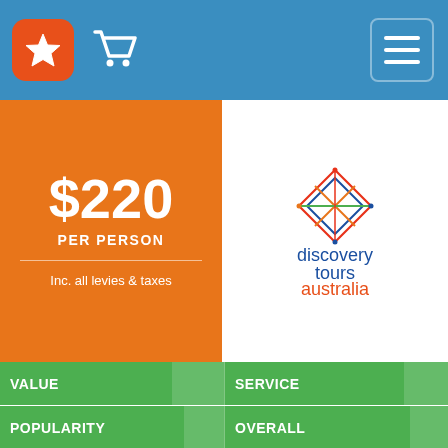Navigation header with star logo, cart icon, and hamburger menu
$220 PER PERSON
Inc. all levies & taxes
[Figure (logo): Discovery Tours Australia logo — geometric diamond shape with coloured lines, text 'discovery tours australia' below]
VALUE
SERVICE
POPULARITY
OVERALL
CAPE TRIBULATION IN A DAY
[Figure (photo): Left photo: people on a canopy walkway/platform in rainforest. Right photo: people on a boat labelled Crocodile Express II on a river with green banks.]